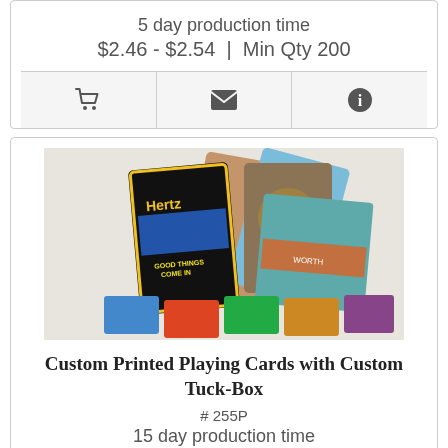5 day production time
$2.46 - $2.54 | Min Qty 200
[Figure (illustration): Three action bar icons: shopping cart, envelope/email, and info circle]
[Figure (photo): Custom printed playing cards with custom tuck-box product photo showing Hertz branded cards and other custom playing card decks]
Custom Printed Playing Cards with Custom Tuck-Box
# 255P
15 day production time